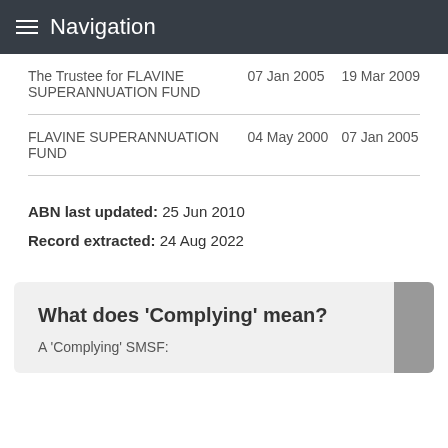Navigation
| Name | From | To |
| --- | --- | --- |
| The Trustee for FLAVINE SUPERANNUATION FUND | 07 Jan 2005 | 19 Mar 2009 |
| FLAVINE SUPERANNUATION FUND | 04 May 2000 | 07 Jan 2005 |
ABN last updated: 25 Jun 2010
Record extracted: 24 Aug 2022
What does 'Complying' mean?
A 'Complying' SMSF: